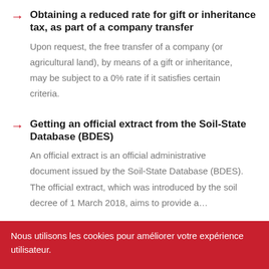Obtaining a reduced rate for gift or inheritance tax, as part of a company transfer
Upon request, the free transfer of a company (or agricultural land), by means of a gift or inheritance, may be subject to a 0% rate if it satisfies certain criteria.
Getting an official extract from the Soil-State Database (BDES)
An official extract is an official administrative document issued by the Soil-State Database (BDES). The official extract, which was introduced by the soil decree of 1 March 2018, aims to provide a...
Nous utilisons les cookies pour améliorer votre expérience utilisateur.